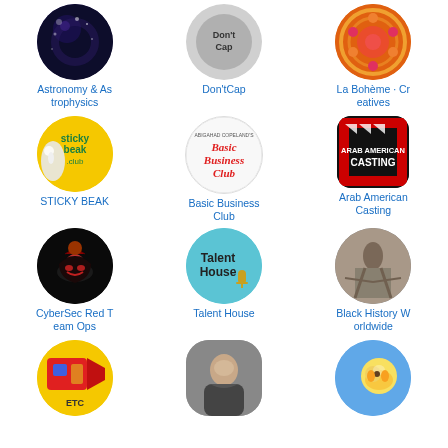[Figure (logo): Dark space/galaxy circular logo for Astronomy & Astrophysics]
Astronomy & As trophysics
[Figure (logo): Don'tCap logo circle]
Don'tCap
[Figure (logo): La Bohème Creatives colorful mandala logo]
La Bohème · Cr eatives
[Figure (logo): Sticky Beak Club yellow circle logo with cockatoo]
STICKY BEAK
[Figure (logo): Basic Business Club logo with italic red text on white]
Basic Business Club
[Figure (logo): Arab American Casting dark clapperboard logo]
Arab American Casting
[Figure (logo): CyberSec Red Team Ops black circle with red hat icon]
CyberSec Red T eam Ops
[Figure (logo): Talent House blue circle with text and microphone]
Talent House
[Figure (photo): Black History Worldwide sepia historical photo in circle]
Black History W orldwide
[Figure (logo): Yellow circle logo with camera icon]
[Figure (photo): Portrait photo of Asian man in circle]
[Figure (logo): Blue circle with cartoon bear character]